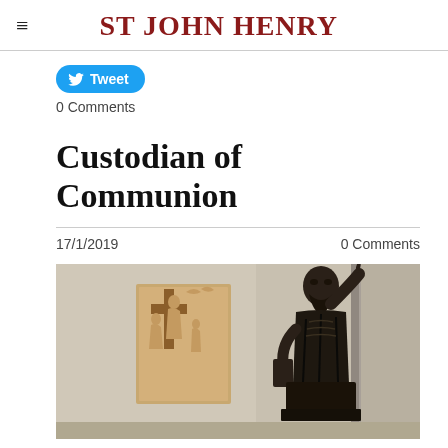ST JOHN HENRY
Tweet
0 Comments
Custodian of Communion
17/1/2019
0 Comments
[Figure (photo): Interior of a church showing a dark bronze seated statue of a figure with a raised pointing finger on the right, and a wooden relief sculpture of the cross-carrying scene (Stations of the Cross) on the left wall. Stone column visible on the far right.]